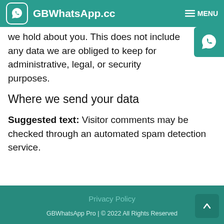GBWhatsApp.cc  MENU
we hold about you. This does not include any data we are obliged to keep for administrative, legal, or security purposes.
Where we send your data
Suggested text: Visitor comments may be checked through an automated spam detection service.
Privacy Policy
GBWhatsApp Pro | © 2022 All Rights Reserved